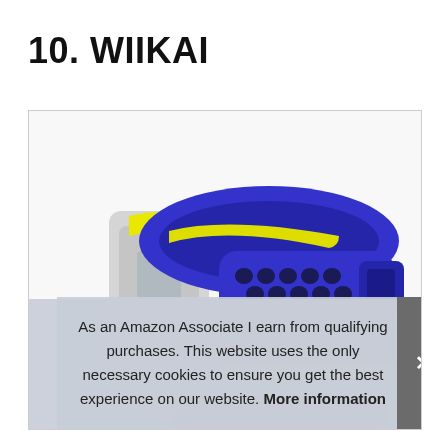10. WIIKAI
[Figure (photo): A blue and yellow sporty watch band/strap with hexagonal ventilation holes, shown with a fitness tracker device body visible on the left side. The band is cobalt blue with yellow accent stripe, featuring a honeycomb perforation pattern.]
As an Amazon Associate I earn from qualifying purchases. This website uses the only necessary cookies to ensure you get the best experience on our website. More information